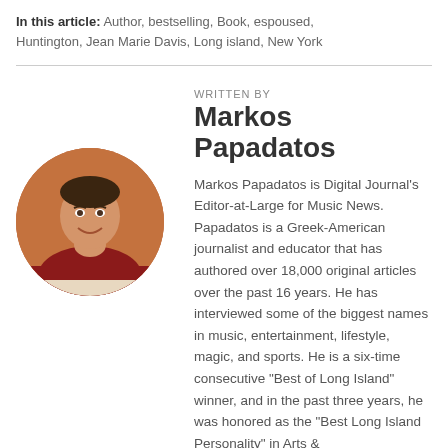In this article: Author, bestselling, Book, espoused, Huntington, Jean Marie Davis, Long island, New York
WRITTEN BY
Markos Papadatos
[Figure (photo): Circular portrait photo of Markos Papadatos, a man in a red shirt smiling, seated with arms resting on a surface, warm background.]
Markos Papadatos is Digital Journal's Editor-at-Large for Music News. Papadatos is a Greek-American journalist and educator that has authored over 18,000 original articles over the past 16 years. He has interviewed some of the biggest names in music, entertainment, lifestyle, magic, and sports. He is a six-time consecutive "Best of Long Island" winner, and in the past three years, he was honored as the "Best Long Island Personality" in Arts & Entertainment by several outlets.